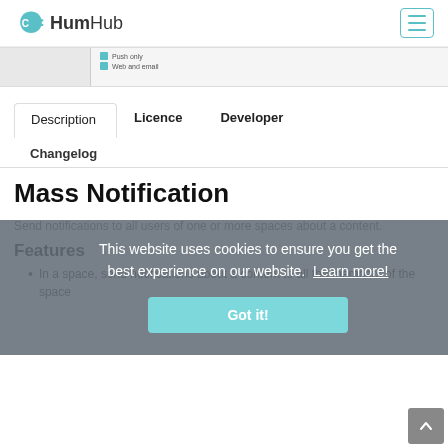HumHub
[Figure (screenshot): Partial screenshot of a notification setting row with checkboxes labeled 'Push only' and 'Web and email']
Description | Licence | Developer
Changelog
Mass Notification
Send notifications to all users of one or more spaces about a content.
Features
In a space, send notifications about a content to all the members of the space
This website uses cookies to ensure you get the best experience on our website. Learn more!